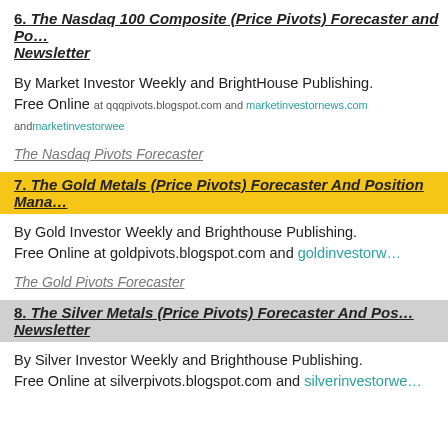6. The Nasdaq 100 Composite (Price Pivots) Forecaster and Po... Newsletter
By Market Investor Weekly and BrightHouse Publishing.
Free Online at qqqpivots.blogspot.com and marketinvestornews.com and marketinvestorwee...
The Nasdaq Pivots Forecaster
7. The Gold Metals (Price Pivots) Forecaster And Position Mana...
By Gold Investor Weekly and Brighthouse Publishing.
Free Online at goldpivots.blogspot.com and goldinvestorw...
The Gold Pivots Forecaster
8. The Silver Metals (Price Pivots) Forecaster And Pos... Newsletter
By Silver Investor Weekly and Brighthouse Publishing.
Free Online at silverpivots.blogspot.com and silverinvestorwe...